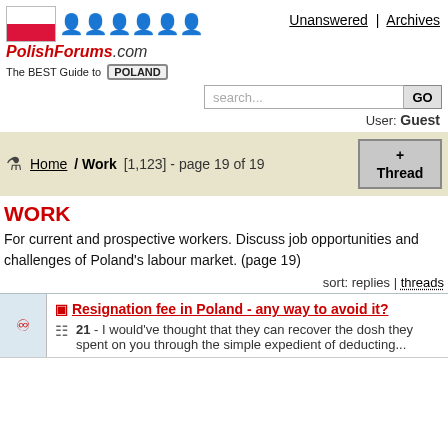[Figure (logo): PolishForums.com logo with Polish flag and silhouette figures]
Unanswered | Archives
The BEST Guide to POLAND
search...  GO
User: Guest
Home / Work [1,123] - page 19 of 19
WORK
For current and prospective workers. Discuss job opportunities and challenges of Poland's labour market. (page 19)
sort: replies | threads
Resignation fee in Poland - any way to avoid it?
21 - I would've thought that they can recover the dosh they spent on you through the simple expedient of deducting...